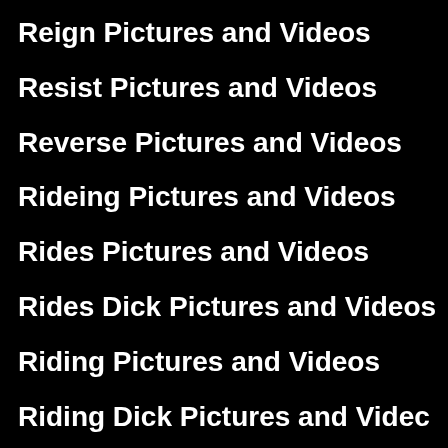Reign Pictures and Videos
Resist Pictures and Videos
Reverse Pictures and Videos
Rideing Pictures and Videos
Rides Pictures and Videos
Rides Dick Pictures and Videos
Riding Pictures and Videos
Riding Dick Pictures and Videos